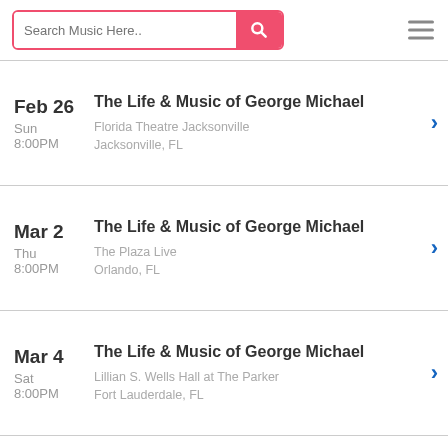Search Music Here..
Feb 26 Sun 8:00PM – The Life & Music of George Michael – Florida Theatre Jacksonville, Jacksonville, FL
Mar 2 Thu 8:00PM – The Life & Music of George Michael – The Plaza Live, Orlando, FL
Mar 4 Sat 8:00PM – The Life & Music of George Michael – Lillian S. Wells Hall at The Parker, Fort Lauderdale, FL